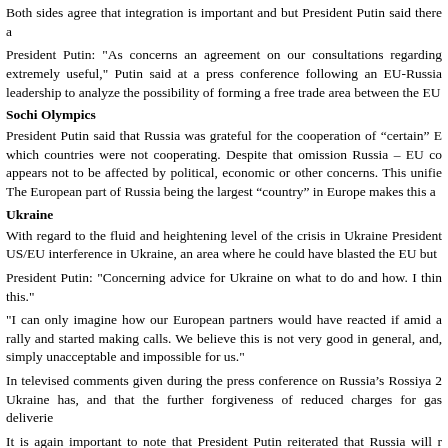Both sides agree that integration is important and but President Putin said there a
President Putin: "As concerns an agreement on our consultations regarding extremely useful," Putin said at a press conference following an EU-Russia leadership to analyze the possibility of forming a free trade area between the EU
Sochi Olympics
President Putin said that Russia was grateful for the cooperation of “certain” E which countries were not cooperating. Despite that omission Russia – EU co appears not to be affected by political, economic or other concerns. This unifie The European part of Russia being the largest “country” in Europe makes this a
Ukraine
With regard to the fluid and heightening level of the crisis in Ukraine President US/EU interference in Ukraine, an area where he could have blasted the EU but
President Putin: "Concerning advice for Ukraine on what to do and how. I thin this."
"I can only imagine how our European partners would have reacted if amid a rally and started making calls. We believe this is not very good in general, and, simply unacceptable and impossible for us."
In televised comments given during the press conference on Russia’s Rossiya 2 Ukraine has, and that the further forgiveness of reduced charges for gas deliverie
It is again important to note that President Putin reiterated that Russia will r historically important ally and friend and “interference” in the form of peacek Russia’s interest, this statement follows Russia’s steadfast policy and calls on o
President Putin’s staunch position on non-interference, even when detrimental international standards which Russia has repeatedly called on other states to a double standards, something certain western powers have no problem with wh